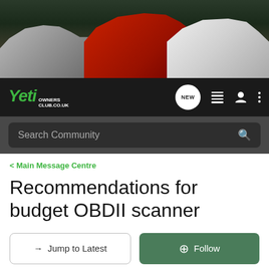[Figure (photo): Banner showing three Skoda Yeti cars: silver on left, red in center, white on right, against dark background]
[Figure (logo): Yeti Owners Club logo in green italic text with navigation icons: NEW badge, list icon, person icon, dots menu]
Search Community
< Main Message Centre
Recommendations for budget OBDII scanner
→ Jump to Latest
+ Follow
1 - 6 of 6 Posts